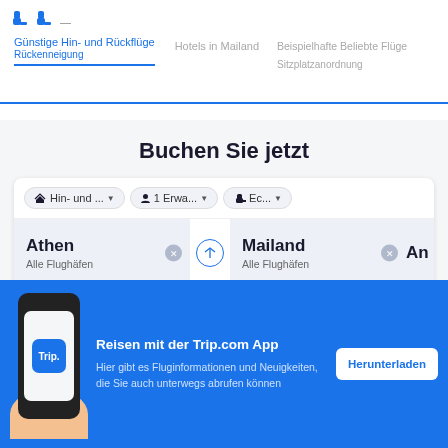Günstige Hin- und Rückflüge  Rückenneigung | Hotels in Mailand | Beispielhafte Beliebte Flüge  Sitzplatzanordnung
Buchen Sie jetzt
[Figure (screenshot): Flight booking search widget with dropdowns for trip type (Hin- und ...), passengers (1 Erwa...), and class (Ec...). Route fields showing Athen (Alle Flughäfen) to Mailand (Alle Flughäfen) with a swap arrow. Date fields showing Do., 1. Sept. and So., 4. Sept. with a blue search button.]
[Figure (infographic): Trip.com app promotional banner with phone graphic showing Trip. logo, text 'Reisen mit der Trip.com App' and 'Hier gibt es Fluginformationen und Neuigkeiten, die Sie auch unterwegs abrufen können', and a white 'Herunterladen' button.]